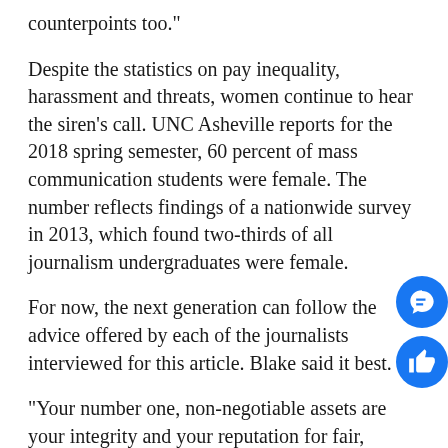counterpoints too.”
Despite the statistics on pay inequality, harassment and threats, women continue to hear the siren’s call. UNC Asheville reports for the 2018 spring semester, 60 percent of mass communication students were female. The number reflects findings of a nationwide survey in 2013, which found two-thirds of all journalism undergraduates were female.
For now, the next generation can follow the advice offered by each of the journalists interviewed for this article. Blake said it best.
“Your number one, non-negotiable assets are your integrity and your reputation for fair, unbiased and factually correct reporting and writing,” Blake said. “With those, you can stand tall and rest easy no matter who challenges you.”